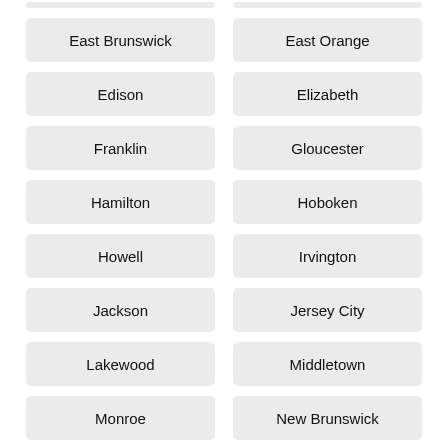East Brunswick
East Orange
Edison
Elizabeth
Franklin
Gloucester
Hamilton
Hoboken
Howell
Irvington
Jackson
Jersey City
Lakewood
Middletown
Monroe
New Brunswick
Newark
North Bergen